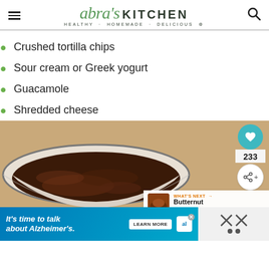Abra's KITCHEN · HEALTHY · HOMEMADE · DELICIOUS
Crushed tortilla chips
Sour cream or Greek yogurt
Guacamole
Shredded cheese
[Figure (photo): A cast iron bowl containing dark chili or stew, photographed from above at an angle, with a tan/beige background suggesting a wooden surface.]
233
WHAT'S NEXT → Butternut Squash...
It's time to talk about Alzheimer's. LEARN MORE